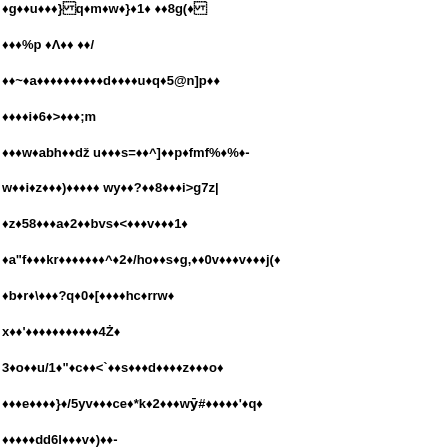Garbled/encoded text content with diamond replacement characters throughout the page, representing corrupted or non-renderable binary/encoded data.